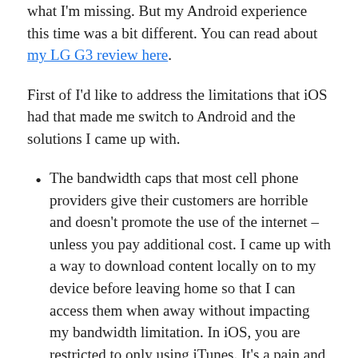what I'm missing. But my Android experience this time was a bit different. You can read about my LG G3 review here.
First of I'd like to address the limitations that iOS had that made me switch to Android and the solutions I came up with.
The bandwidth caps that most cell phone providers give their customers are horrible and doesn't promote the use of the internet – unless you pay additional cost. I came up with a way to download content locally on to my device before leaving home so that I can access them when away without impacting my bandwidth limitation. In iOS, you are restricted to only using iTunes. It's a pain and it will only